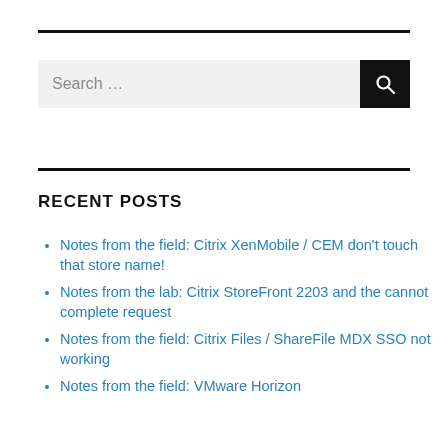[Figure (other): Search bar with text input field showing 'Search ...' placeholder and a black search button with magnifying glass icon]
RECENT POSTS
Notes from the field: Citrix XenMobile / CEM don't touch that store name!
Notes from the lab: Citrix StoreFront 2203 and the cannot complete request
Notes from the field: Citrix Files / ShareFile MDX SSO not working
Notes from the field: VMware Horizon